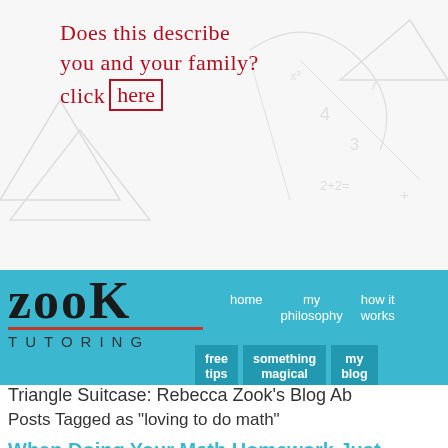[Figure (illustration): Handwritten red text saying 'Does this describe you and your family? click here' with 'here' in a drawn box, over a light grey background with faint math doodles]
[Figure (logo): Zook Tutoring logo and navigation bar with teal/cyan background. Logo shows 'ZOOK' in large handwritten font with 'TUTORING' below. Nav links: home, my philosophy, how it works, free tips, something magical, my blog]
Triangle Suitcase: Rebecca Zook's Blog Ab
Posts Tagged as "loving to do math"
When Doing Your Math Homework Just Cutting It